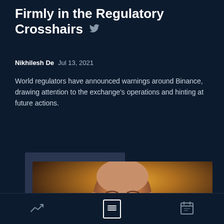Firmly in the Regulatory Crosshairs
Nikhilesh De  Jul 13, 2021
World regulators have announced warnings around Binance, drawing attention to the exchange's operations and hinting at future actions.
[Figure (photo): Close-up photo of a bald man with a serious expression, photographed against a warm golden/amber bokeh background.]